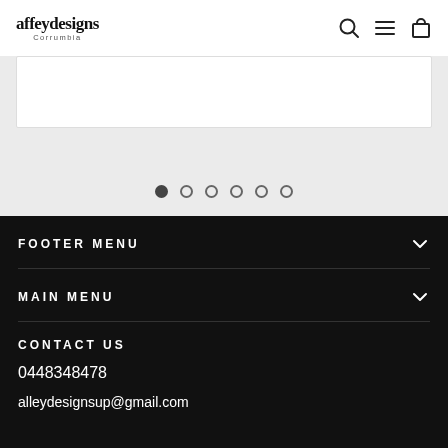affeydesigns Corrumbia
[Figure (screenshot): Slider/carousel area with white box at top and six pagination dots below on light grey background]
FOOTER MENU
MAIN MENU
CONTACT US
0448348478
alleydesignsup@gmail.com